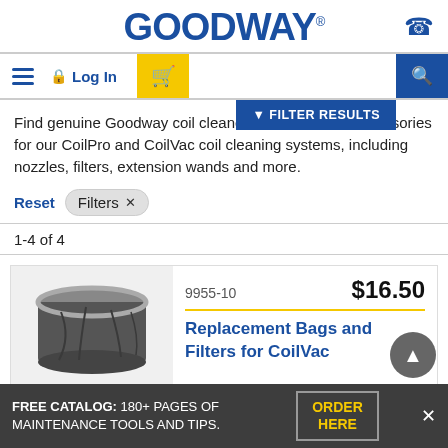GOODWAY
Find genuine Goodway coil cleaner chemicals and accessories for our CoilPro and CoilVac coil cleaning systems, including nozzles, filters, extension wands and more.
Reset  Filters ×
1-4 of 4
[Figure (photo): Photo of a replacement bag/filter for CoilVac — a dark grey fabric bag with a metal rim]
9955-10  $16.50  Replacement Bags and Filters for CoilVac
FREE CATALOG: 180+ PAGES OF MAINTENANCE TOOLS AND TIPS.  ORDER HERE  ×